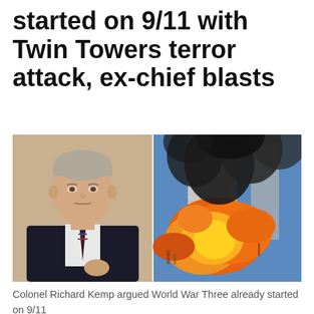started on 9/11 with Twin Towers terror attack, ex-chief blasts
[Figure (photo): Left: Colonel Richard Kemp, a middle-aged man in a dark suit with striped tie, serious expression, gray-blond hair. Right: The Twin Towers on 9/11 with a massive fireball and black smoke billowing from the building.]
Colonel Richard Kemp argued World War Three already started on 9/11